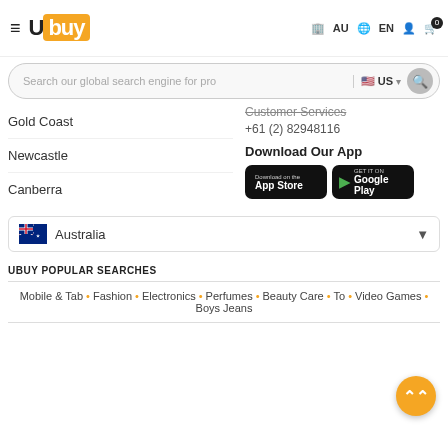Ubuy — AU EN (cart: 0)
Search our global search engine for pro | US
Customer Services
+61 (2) 82948116
Gold Coast
Newcastle
Canberra
Download Our App
[Figure (other): App Store download button]
[Figure (other): Google Play download button]
Australia
UBUY POPULAR SEARCHES
Mobile & Tab • Fashion • Electronics • Perfumes • Beauty Care • To... • Video Games • Boys Jeans